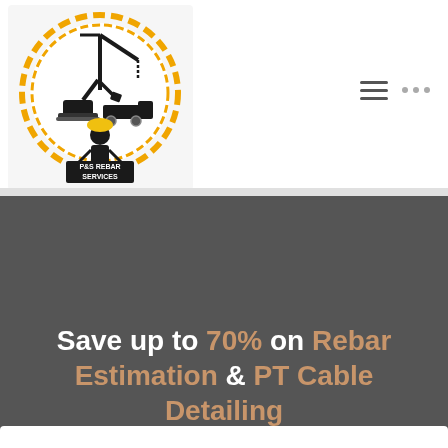[Figure (logo): P&S Rebar Services logo showing a construction crane, dump truck, worker silhouette, and rebar background inside a circular gear-like border with gold/yellow and black coloring]
Save up to 70% on Rebar Estimation & PT Cable Detailing